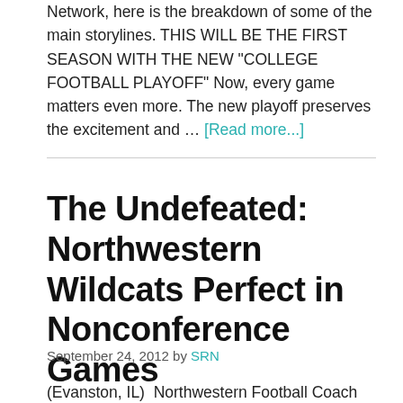Network, here is the breakdown of some of the main storylines. THIS WILL BE THE FIRST SEASON WITH THE NEW "COLLEGE FOOTBALL PLAYOFF" Now, every game matters even more. The new playoff preserves the excitement and … [Read more...]
The Undefeated: Northwestern Wildcats Perfect in Nonconference Games
September 24, 2012 by SRN
(Evanston, IL)  Northwestern Football Coach Pat Fitz...